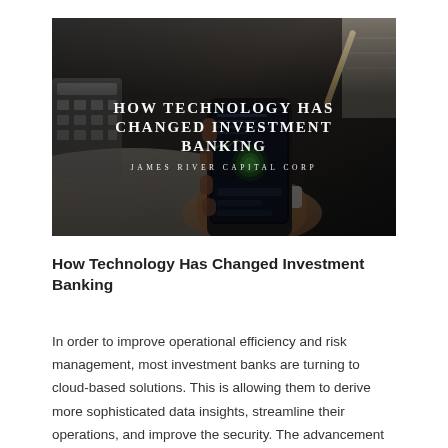[Figure (photo): A person holding a smartphone with a financial/trading app visible, with a calculator and papers in the background. Overlaid text reads 'HOW TECHNOLOGY HAS CHANGED INVESTMENT BANKING' and 'JAMES RIVER CAPITAL CORP' in white serif letters on a dark-tinted banner.]
How Technology Has Changed Investment Banking
In order to improve operational efficiency and risk management, most investment banks are turning to cloud-based solutions. This is allowing them to derive more sophisticated data insights, streamline their operations, and improve the security. The advancement